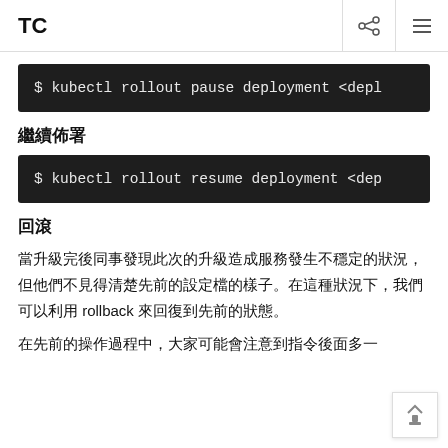TC
[Figure (screenshot): Dark terminal code block showing: $ kubectl rollout pause deployment <depl]
繼續佈署
[Figure (screenshot): Dark terminal code block showing: $ kubectl rollout resume deployment <dep]
回滾
當升級完後同事發現此次的升級造成服務發生不穩定的狀況，但他們不見得清楚先前的設定檔的樣子。在這種狀況下，我們可以利用 rollback 來回復到先前的狀態。
在先前的操作過程中，大家可能會注意到指令後面多一個